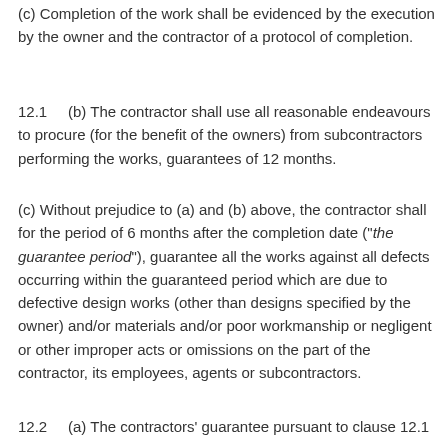(c) Completion of the work shall be evidenced by the execution by the owner and the contractor of a protocol of completion.
12.1      (b) The contractor shall use all reasonable endeavours to procure (for the benefit of the owners) from subcontractors performing the works, guarantees of 12 months.
(c) Without prejudice to (a) and (b) above, the contractor shall for the period of 6 months after the completion date (“the guarantee period”), guarantee all the works against all defects occurring within the guaranteed period which are due to defective design works (other than designs specified by the owner) and/or materials and/or poor workmanship or negligent or other improper acts or omissions on the part of the contractor, its employees, agents or subcontractors.
12.2      (a) The contractors’ guarantee pursuant to clause 12.1